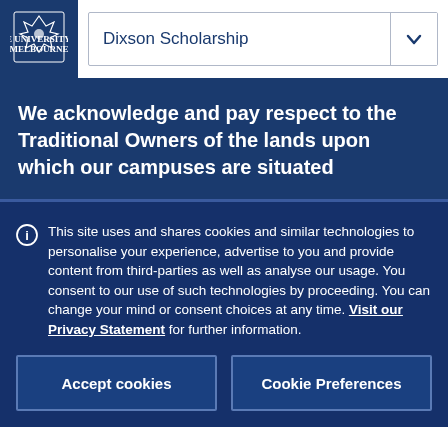Dixson Scholarship
We acknowledge and pay respect to the Traditional Owners of the lands upon which our campuses are situated
This site uses and shares cookies and similar technologies to personalise your experience, advertise to you and provide content from third-parties as well as analyse our usage. You consent to our use of such technologies by proceeding. You can change your mind or consent choices at any time. Visit our Privacy Statement for further information.
Accept cookies
Cookie Preferences